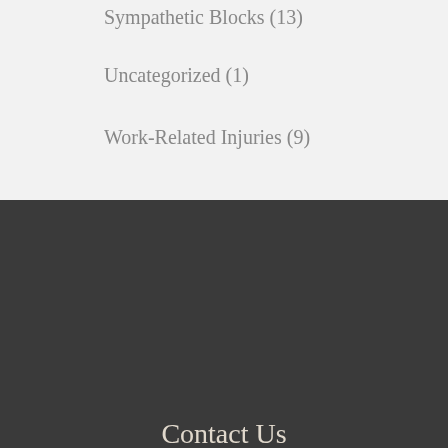Suboxone Therapy (15)
Sympathetic Blocks (13)
Uncategorized (1)
Work-Related Injuries (9)
Contact Us
Please fill out the form below and we'll get back to you. If you need immediate assistance, please call (480) 626-2552.
Fields marked with * are required
FIRST NAME*